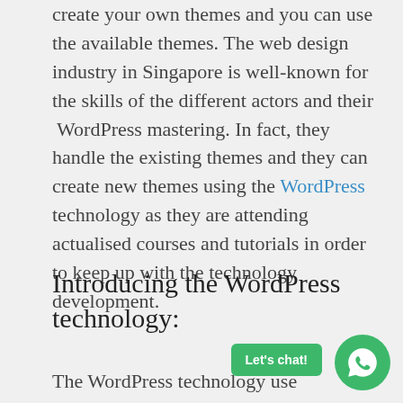create your own themes and you can use the available themes. The web design industry in Singapore is well-known for the skills of the different actors and their WordPress mastering. In fact, they handle the existing themes and they can create new themes using the WordPress technology as they are attending actualised courses and tutorials in order to keep up with the technology development.
Introducing the WordPress technology:
The WordPress technology uses the most up to date trends in the web design, web